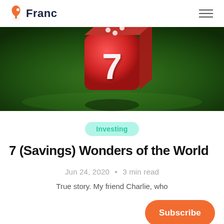Franc
[Figure (photo): A red die showing the number 7 on a green felt surface, photographed from above at an angle.]
Investing
7 (Savings) Wonders of the World
Jun 24, 2020 • 3 min read
True story. My friend Charlie, who